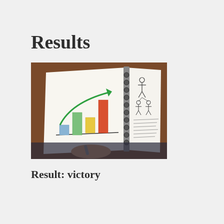Results
[Figure (photo): A person holding a notebook open to a hand-drawn bar chart with a green upward arrow and colored bars (blue, green, yellow, red/orange), next to a page with hand-drawn organizational or network diagrams.]
Result: victory